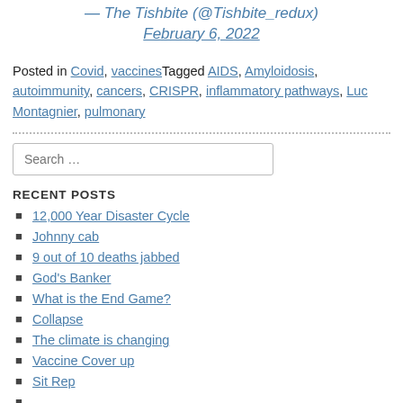— The Tishbite (@Tishbite_redux)
February 6, 2022
Posted in Covid, vaccines Tagged AIDS, Amyloidosis, autoimmunity, cancers, CRISPR, inflammatory pathways, Luc Montagnier, pulmonary
Search …
RECENT POSTS
12,000 Year Disaster Cycle
Johnny cab
9 out of 10 deaths jabbed
God's Banker
What is the End Game?
Collapse
The climate is changing
Vaccine Cover up
Sit Rep
…